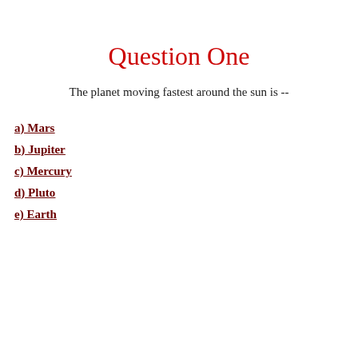Question One
The planet moving fastest around the sun is --
a) Mars
b) Jupiter
c) Mercury
d) Pluto
e) Earth